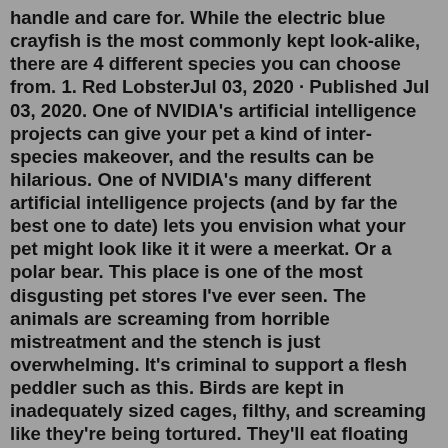handle and care for. While the electric blue crayfish is the most commonly kept look-alike, there are 4 different species you can choose from. 1. Red LobsterJul 03, 2020 · Published Jul 03, 2020. One of NVIDIA's artificial intelligence projects can give your pet a kind of inter-species makeover, and the results can be hilarious. One of NVIDIA's many different artificial intelligence projects (and by far the best one to date) lets you envision what your pet might look like it it were a meerkat. Or a polar bear. This place is one of the most disgusting pet stores I've ever seen. The animals are screaming from horrible mistreatment and the stench is just overwhelming. It's criminal to support a flesh peddler such as this. Birds are kept in inadequately sized cages, filthy, and screaming like they're being tortured. They'll eat floating and submerged plants which develop in lakes, ponds and rivers. In aquatic environments, Snails will graze on algae which grows over stones and sediment. They'll utilize their radulae to scratch it up. Snails are a amazing snails Snot diners are a d